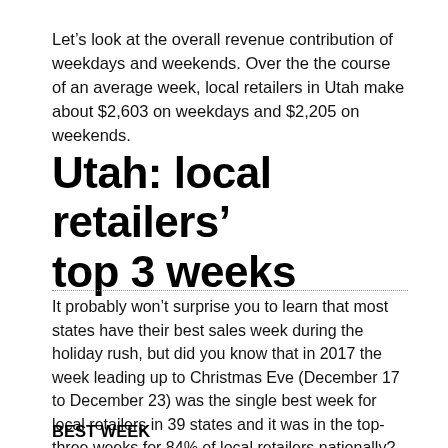Let's look at the overall revenue contribution of weekdays and weekends. Over the the course of an average week, local retailers in Utah make about $2,603 on weekdays and $2,205 on weekends.
Utah: local retailers' top 3 weeks
It probably won't surprise you to learn that most states have their best sales week during the holiday rush, but did you know that in 2017 the week leading up to Christmas Eve (December 17 to December 23) was the single best week for local retailers in 39 states and it was in the top-three weeks for 84% of local retailers nationally? Here's a look at Utah's top three weeks:
BEST WEEK